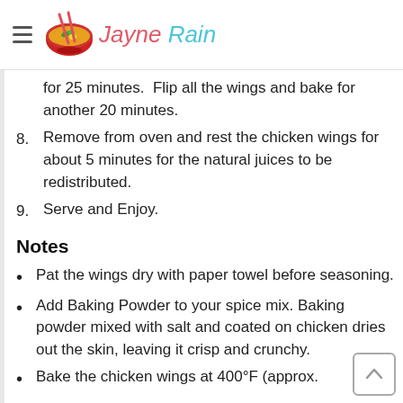Jayne Rain
for 25 minutes.  Flip all the wings and bake for another 20 minutes.
8. Remove from oven and rest the chicken wings for about 5 minutes for the natural juices to be redistributed.
9. Serve and Enjoy.
Notes
Pat the wings dry with paper towel before seasoning.
Add Baking Powder to your spice mix. Baking powder mixed with salt and coated on chicken dries out the skin, leaving it crisp and crunchy.
Bake the chicken wings at 400°F (approx.